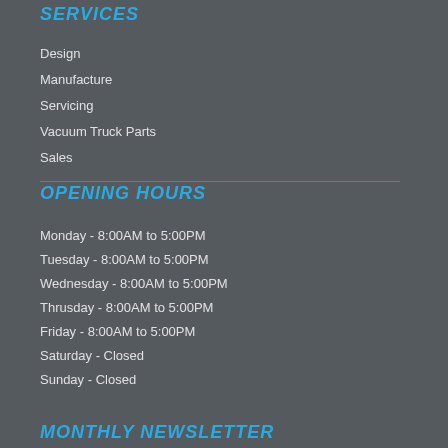SERVICES
Design
Manufacture
Servicing
Vacuum Truck Parts
Sales
OPENING HOURS
Monday - 8:00AM to 5:00PM
Tuesday - 8:00AM to 5:00PM
Wednesday - 8:00AM to 5:00PM
Thrusday - 8:00AM to 5:00PM
Friday - 8:00AM to 5:00PM
Saturday - Closed
Sunday - Closed
MONTHLY NEWSLETTER